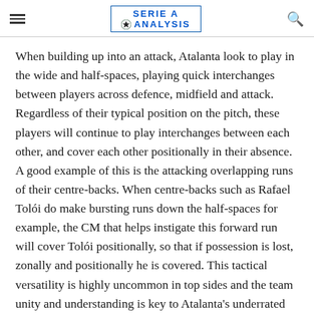SERIE A ANALYSIS
When building up into an attack, Atalanta look to play in the wide and half-spaces, playing quick interchanges between players across defence, midfield and attack. Regardless of their typical position on the pitch, these players will continue to play interchanges between each other, and cover each other positionally in their absence. A good example of this is the attacking overlapping runs of their centre-backs. When centre-backs such as Rafael Tolói do make bursting runs down the half-spaces for example, the CM that helps instigate this forward run will cover Tolói positionally, so that if possession is lost, zonally and positionally he is covered. This tactical versatility is highly uncommon in top sides and the team unity and understanding is key to Atalanta's underrated success under Gasperini in recent seasons.